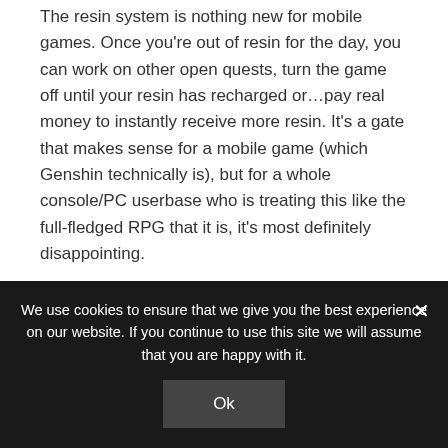The resin system is nothing new for mobile games. Once you're out of resin for the day, you can work on other open quests, turn the game off until your resin has recharged or…pay real money to instantly receive more resin. It's a gate that makes sense for a mobile game (which Genshin technically is), but for a whole console/PC userbase who is treating this like the full-fledged RPG that it is, it's most definitely disappointing.
I haven't had an issue with the resin system just yet, as I still have many quests to do. I've only just recently started running into issues where I run out
We use cookies to ensure that we give you the best experience on our website. If you continue to use this site we will assume that you are happy with it.
Ok